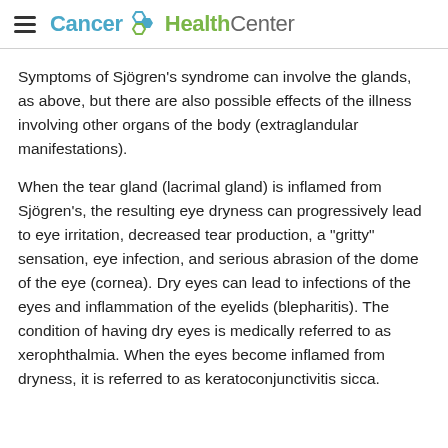Cancer HealthCenter
Symptoms of Sjögren's syndrome can involve the glands, as above, but there are also possible effects of the illness involving other organs of the body (extraglandular manifestations).
When the tear gland (lacrimal gland) is inflamed from Sjögren's, the resulting eye dryness can progressively lead to eye irritation, decreased tear production, a "gritty" sensation, eye infection, and serious abrasion of the dome of the eye (cornea). Dry eyes can lead to infections of the eyes and inflammation of the eyelids (blepharitis). The condition of having dry eyes is medically referred to as xerophthalmia. When the eyes become inflamed from dryness, it is referred to as keratoconjunctivitis sicca.